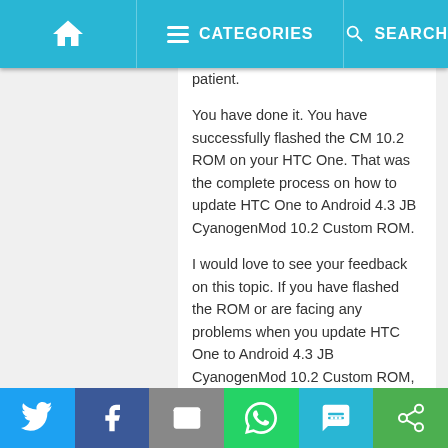Home | Categories | Search
patient.
You have done it. You have successfully flashed the CM 10.2 ROM on your HTC One. That was the complete process on how to update HTC One to Android 4.3 JB CyanogenMod 10.2 Custom ROM.
I would love to see your feedback on this topic. If you have flashed the ROM or are facing any problems when you update HTC One to Android 4.3 JB CyanogenMod 10.2 Custom ROM,